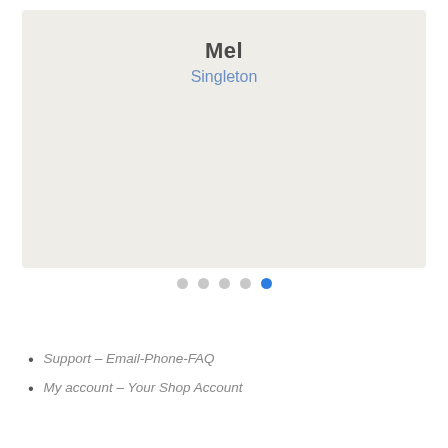Mel
Singleton
[Figure (other): Pagination dots row with 5 dots, the 5th (rightmost) being active/blue]
Support – Email-Phone-FAQ
My account – Your Shop Account